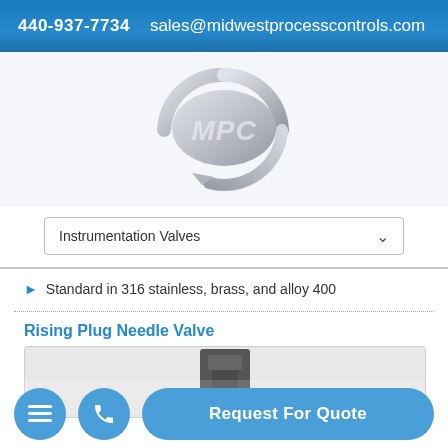440-937-7734   sales@midwestprocesscontrols.com
[Figure (logo): MPC (Midwest Process Controls) silver metallic logo with circular arrow design and bold MPC text]
Instrumentation Valves (dropdown)
Standard in 316 stainless, brass, and alloy 400
Rising Plug Needle Valve
[Figure (photo): Partial view of a Rising Plug Needle Valve product, dark metal industrial valve component]
Request For Quote